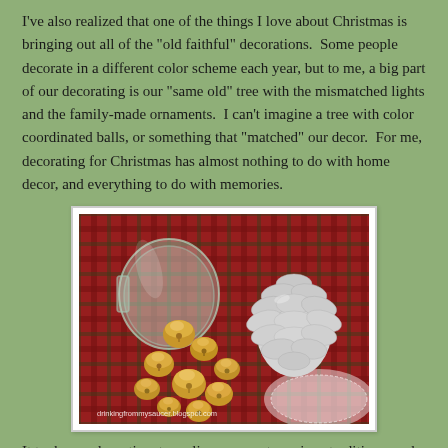I've also realized that one of the things I love about Christmas is bringing out all of the "old faithful" decorations.  Some people decorate in a different color scheme each year, but to me, a big part of our decorating is our "same old" tree with the mismatched lights and the family-made ornaments.  I can't imagine a tree with color coordinated balls, or something that "matched" our decor.  For me, decorating for Christmas has almost nothing to do with home decor, and everything to do with memories.
[Figure (photo): A close-up photo of gold jingle bells spilling out of a glass mason jar, with a white-painted pine cone, arranged on a red and green plaid fabric. Watermark reads: drinkingfrommysaucer.blogspot.com]
It took me a long time to realize our most precious traditions, and